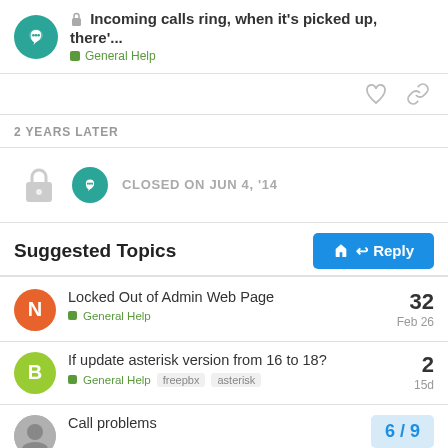Incoming calls ring, when it's picked up, there'... General Help
2 YEARS LATER
CLOSED ON JUN 4, '14
Suggested Topics
Locked Out of Admin Web Page — General Help — 32 — Feb 26
If update asterisk version from 16 to 18? — General Help — freepbx, asterisk — 2 — 15d
Call problems — 6 / 9